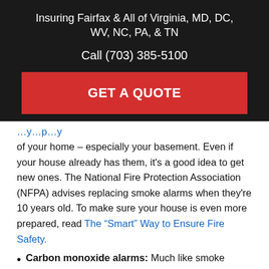Insuring Fairfax & All of Virginia, MD, DC, WV, NC, PA, & TN
Call (703) 385-5100
GET A QUOTE
of your home – especially your basement. Even if your house already has them, it's a good idea to get new ones. The National Fire Protection Association (NFPA) advises replacing smoke alarms when they're 10 years old. To make sure your house is even more prepared, read The “Smart” Way to Ensure Fire Safety.
Carbon monoxide alarms: Much like smoke